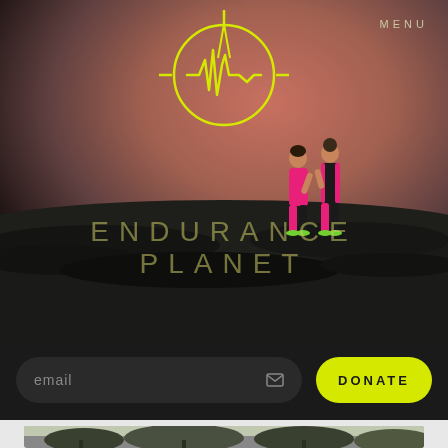[Figure (photo): Hero image of two female athletes in pink and black running gear standing on dark volcanic rocks against a dusk/sunset sky background]
[Figure (logo): Endurance Planet logo: a yellow/chartreuse heartbeat pulse line inside a circle with horizontal lines extending like a compass/crosshair]
MENU
ENDURANCE PLANET
email
DONATE
[Figure (photo): Partial thumbnail of a nature/outdoor scene with trees and branches visible at the bottom of the page]